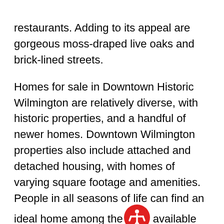restaurants. Adding to its appeal are gorgeous moss-draped live oaks and brick-lined streets.
Homes for sale in Downtown Historic Wilmington are relatively diverse, with historic properties, and a handful of newer homes. Downtown Wilmington properties also include attached and detached housing, with homes of varying square footage and amenities. People in all seasons of life can find an ideal home among the available Downtown Wilmington real estate, and we are here to help. It would give us great pleasure to have the opportunity to tell you all about the currently listed properties in Downtown Historic Wilmington, North Carolina, so please connect with us as soon as it is convenient.